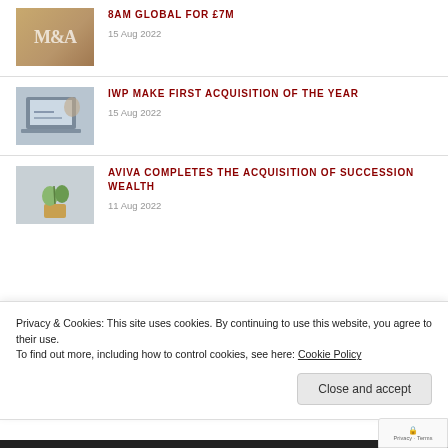[Figure (photo): M&A text overlay on wooden background thumbnail]
8AM GLOBAL FOR £7M
15 Aug 2022
[Figure (photo): Person working on laptop at desk thumbnail]
IWP MAKE FIRST ACQUISITION OF THE YEAR
15 Aug 2022
[Figure (photo): Plant growing from coins thumbnail]
AVIVA COMPLETES THE ACQUISITION OF SUCCESSION WEALTH
11 Aug 2022
Privacy & Cookies: This site uses cookies. By continuing to use this website, you agree to their use.
To find out more, including how to control cookies, see here: Cookie Policy
Close and accept